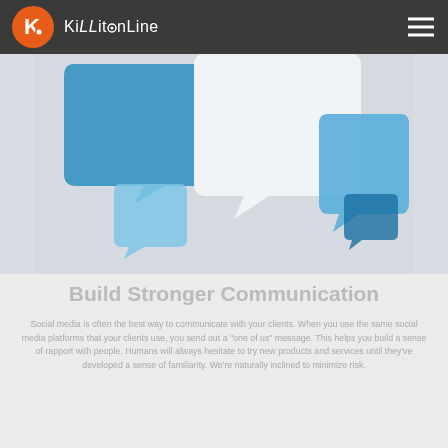[Figure (logo): KiLLitonLine logo: orange circle with white stylized K, followed by brand name text in white on dark header bar]
[Figure (photo): 3D rendered speech/chat bubbles in blue and white colors on a light grey background, illustrating communication concept]
Build Stronger Communication
Social media is often the best way to communicate with your clients. When you use the same social media platforms that your clients use, you send out a "one of us" message. This helps you build a sense of rapport with people. Humans will always hesitate to try new products and services until they've developed a sense of familiarity. We're naturally inclined to minimize risk.